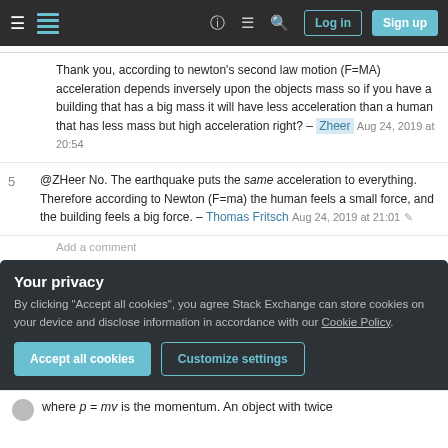Stack Exchange navigation bar with Log in and Sign up buttons
Thank you, according to newton's second law motion (F=MA) acceleration depends inversely upon the objects mass so if you have a building that has a big mass it will have less acceleration than a human that has less mass but high acceleration right? – Zheer Aug 24, 2019 at 20:54
5 @ZHeer No. The earthquake puts the same acceleration to everything. Therefore according to Newton (F=ma) the human feels a small force, and the building feels a big force. – Thomas Fritsch Aug 24, 2019 at 21:01
Add a comment
Your privacy
By clicking "Accept all cookies", you agree Stack Exchange can store cookies on your device and disclose information in accordance with our Cookie Policy.
Accept all cookies   Customize settings
where p = mv is the momentum. An object with twice